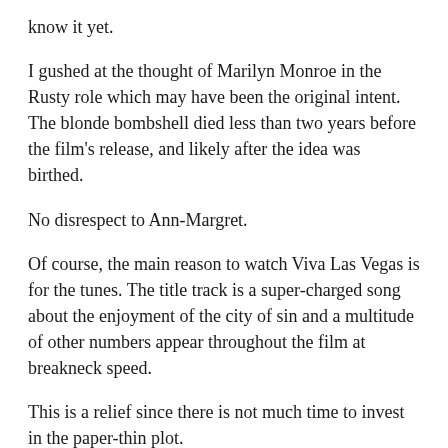know it yet.
I gushed at the thought of Marilyn Monroe in the Rusty role which may have been the original intent. The blonde bombshell died less than two years before the film's release, and likely after the idea was birthed.
No disrespect to Ann-Margret.
Of course, the main reason to watch Viva Las Vegas is for the tunes. The title track is a super-charged song about the enjoyment of the city of sin and a multitude of other numbers appear throughout the film at breakneck speed.
This is a relief since there is not much time to invest in the paper-thin plot.
Viva Las Vegas (1964) is a film recommended mostly for Elvis fans seeking a glimpse of the star in his heyday.